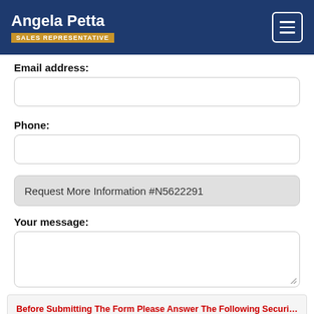Angela Petta - SALES REPRESENTATIVE
Email address:
Phone:
Request More Information #N5622291
Your message:
Before Submitting The Form Please Answer The Following Security Question: 12 + 8 =